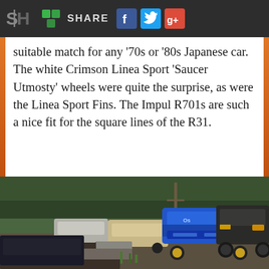SH SHARE [Facebook] [Twitter] [Google+]
suitable match for any '70s or '80s Japanese car. The white Crimson Linea Sport 'Saucer Utmosty' wheels were quite the surprise, as were the Linea Sport Fins. The Impul R701s are such a nice fit for the square lines of the R31.
[Figure (photo): Junkyard scene with multiple classic Japanese cars stacked and parked, including a prominent blue Nissan Skyline R32, with trees in the background.]